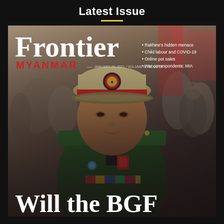Latest Issue
[Figure (photo): Cover of Frontier Myanmar magazine featuring a military officer in green uniform with medals, cap with red band, in front of a crowd. Text on cover: 'Frontier', 'MYANMAR', 'JANUARY 29, 2021 / VOLUME 8, ISSUE 18', bullet points: 'Rakhine's hidden menace', 'Child labour and COVID-19', 'Online pot sales', 'War correspondents: MIA', and bottom text 'Will the BGF']